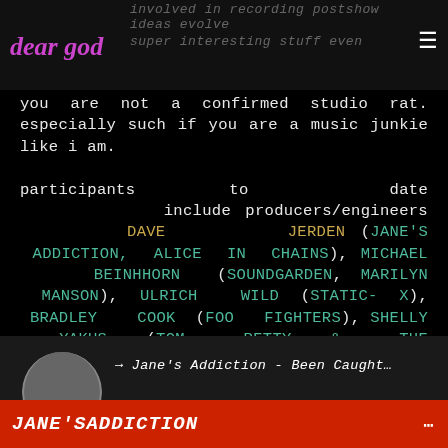deer god | involved in recording postshow ideas evolve | super interesting stuff even
you are not a confirmed studio rat. especially such if you are a music junkie like i am.

participants to date include producers/engineers DAVE JERDEN (JANE'S ADDICTION, ALICE IN CHAINS), MICHAEL BEINHHORN (SOUNDGARDEN, MARILYN MANSON), ULRICH WILD (STATIC-X), BRADLEY COOK (FOO FIGHTERS), SHELLY YAKUS (TOM PETTY & THE HEARTBREAKERS, BLUE OYSTER CULT) and JACK DOUGLAS (AEROSMITH, CHEAP TRICK). definitely worth watching.
[Figure (screenshot): YouTube video thumbnail showing Jane's Addiction - Been Caught with red JANE'SADDICTION banner at bottom]